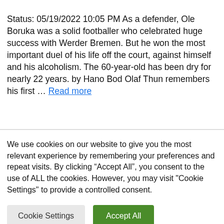Status: 05/19/2022 10:05 PM As a defender, Ole Boruka was a solid footballer who celebrated huge success with Werder Bremen. But he won the most important duel of his life off the court, against himself and his alcoholism. The 60-year-old has been dry for nearly 22 years. by Hano Bod Olaf Thun remembers his first … Read more
We use cookies on our website to give you the most relevant experience by remembering your preferences and repeat visits. By clicking “Accept All”, you consent to the use of ALL the cookies. However, you may visit "Cookie Settings" to provide a controlled consent.